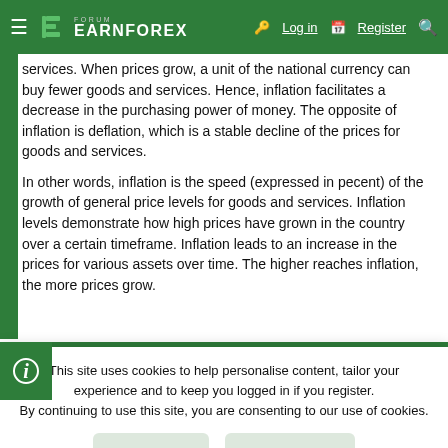FORUM EARNFOREX — Log in | Register
services. When prices grow, a unit of the national currency can buy fewer goods and services. Hence, inflation facilitates a decrease in the purchasing power of money. The opposite of inflation is deflation, which is a stable decline of the prices for goods and services.
In other words, inflation is the speed (expressed in pecent) of the growth of general price levels for goods and services. Inflation levels demonstrate how high prices have grown in the country over a certain timeframe. Inflation leads to an increase in the prices for various assets over time. The higher reaches inflation, the more prices grow.
This site uses cookies to help personalise content, tailor your experience and to keep you logged in if you register.
By continuing to use this site, you are consenting to our use of cookies.